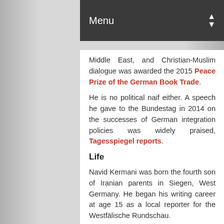Menu
Middle East, and Christian-Muslim dialogue was awarded the 2015 Peace Prize of the German Book Trade.
He is no political naif either. A speech he gave to the Bundestag in 2014 on the successes of German integration policies was widely praised, Tagesspiegel reports.
Life
Navid Kermani was born the fourth son of Iranian parents in Siegen, West Germany. He began his writing career at age 15 as a local reporter for the Westfälische Rundschau.
As a student he published in German national newspapers; from 1996 to 2000 he was a regular contributor to the feuilleton section of